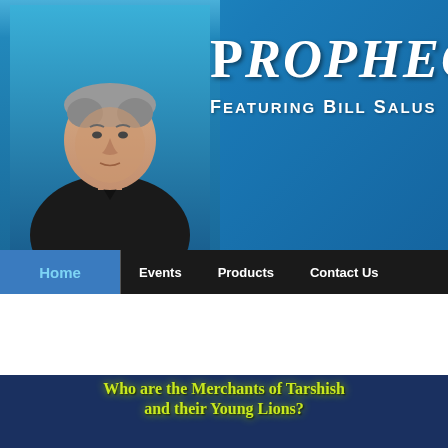[Figure (photo): Website header banner with blue gradient background, photo of Bill Salus (middle-aged man in black jacket), large white serif text 'PROPHECY D' and 'FEATURING BILL SALUS' subtitle]
Home | Events | Products | Contact Us
Are the UK and USA in Ezekiel 38
on Thursday, July 7, 2016 by Bill Salus
[Figure (infographic): Dark blue background infographic with yellow-green glowing text: 'Who are the Merchants of Tarshish and their Young Lions?' with a world map below showing North America, Europe, a red star, an orange arrow, and an Israeli flag symbol]